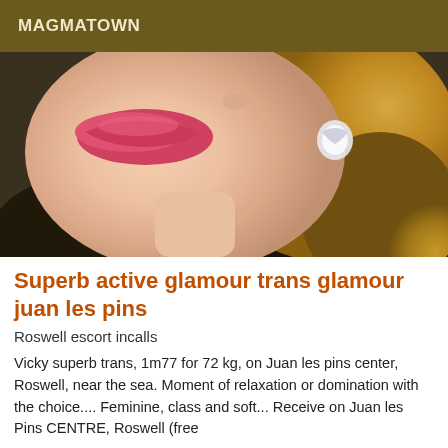MAGMATOWN
[Figure (photo): Close-up photo of a blonde woman with bright pink lips, wearing a heart-shaped earring and dark patterned clothing]
Superb active glamour trans glamour juan les pins
Roswell escort incalls
Vicky superb trans, 1m77 for 72 kg, on Juan les pins center, Roswell, near the sea. Moment of relaxation or domination with the choice.... Feminine, class and soft... Receive on Juan les Pins CENTRE, Roswell (free